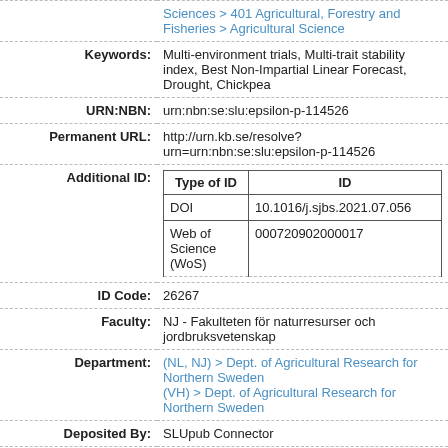| Field | Value |
| --- | --- |
|  | Sciences > 401 Agricultural, Forestry and Fisheries > Agricultural Science |
| Keywords: | Multi-environment trials, Multi-trait stability index, Best Non-Impartial Linear Forecast, Drought, Chickpea |
| URN:NBN: | urn:nbn:se:slu:epsilon-p-114526 |
| Permanent URL: | http://urn.kb.se/resolve?urn=urn:nbn:se:slu:epsilon-p-114526 |
| Additional ID: | Type of ID | ID / DOI | 10.1016/j.sjbs.2021.07.056 / Web of Science (WoS) | 000720902000017 |
| ID Code: | 26267 |
| Faculty: | NJ - Fakulteten för naturresurser och jordbruksvetenskap |
| Department: | (NL, NJ) > Dept. of Agricultural Research for Northern Sweden (VH) > Dept. of Agricultural Research for Northern Sweden |
| Deposited By: | SLUpub Connector |
| Deposited On: | 02 Dec 2021 14:25 |